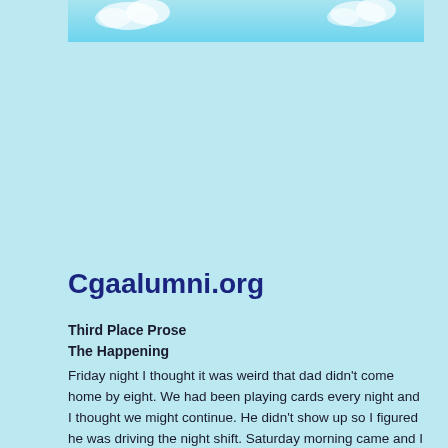[Figure (photo): A banner image showing a light blue sky with clouds]
Cgaalumni.org
Third Place Prose
The Happening
Friday night I thought it was weird that dad didn't come home by eight. We had been playing cards every night and I thought we might continue. He didn't show up so I figured he was driving the night shift. Saturday morning came and I woke up early to make us breakfast before I went to work. He wasn't in his room or the office and I thought that was strange too, but maybe he was already out I went to work and Uncle David called me around 3 to ask if I